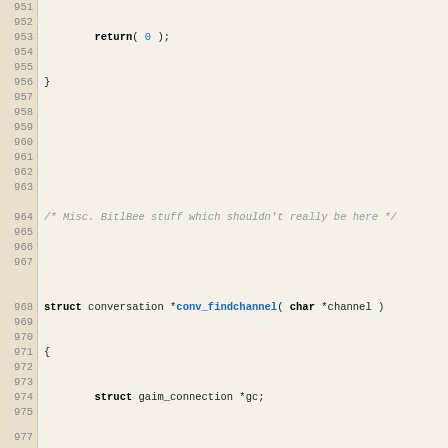[Figure (screenshot): Source code viewer showing C code lines 951-979, with line numbers on the left and syntax-highlighted code on the right. Functions conv_findchannel and set_eval_away_devoice are visible.]